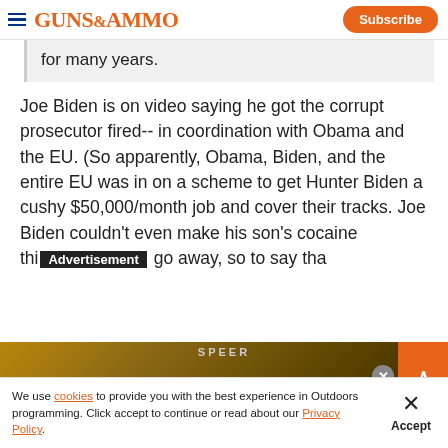GUNS&AMMO | Subscribe
for many years.
Joe Biden is on video saying he got the corrupt prosecutor fired-- in coordination with Obama and the EU. (So apparently, Obama, Biden, and the entire EU was in on a scheme to get Hunter Biden a cushy $50,000/month job and cover their tracks. Joe Biden couldn't even make his son's cocaine thi [Advertisement] go away, so to say tha
[Figure (screenshot): Advertisement banner showing SPEER PRECISION with dark golden/brown background with rifle imagery and orange expand button]
We use cookies to provide you with the best experience in Outdoors programming. Click accept to continue or read about our Privacy Policy.